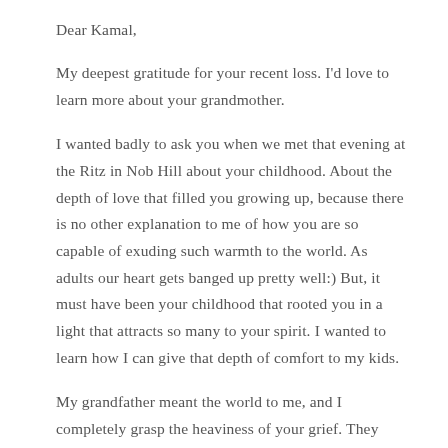Dear Kamal,
My deepest gratitude for your recent loss. I'd love to learn more about your grandmother.
I wanted badly to ask you when we met that evening at the Ritz in Nob Hill about your childhood. About the depth of love that filled you growing up, because there is no other explanation to me of how you are so capable of exuding such warmth to the world. As adults our heart gets banged up pretty well:) But, it must have been your childhood that rooted you in a light that attracts so many to your spirit. I wanted to learn how I can give that depth of comfort to my kids.
My grandfather meant the world to me, and I completely grasp the heaviness of your grief. They never leave us! One day soon, I hope to